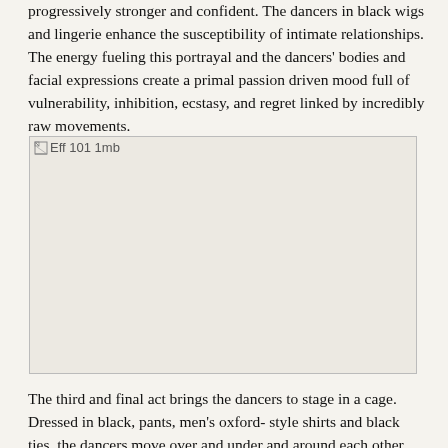progressively stronger and confident. The dancers in black wigs and lingerie enhance the susceptibility of intimate relationships. The energy fueling this portrayal and the dancers' bodies and facial expressions create a primal passion driven mood full of vulnerability, inhibition, ecstasy, and regret linked by incredibly raw movements.
[Figure (photo): Broken image placeholder labeled 'Eff 101 1mb' — a large image that failed to load, shown as a light beige/grey rectangle with a broken image icon and filename text.]
The third and final act brings the dancers to stage in a cage. Dressed in black, pants, men's oxford- style shirts and black ties, the dancers move over and under and around each other